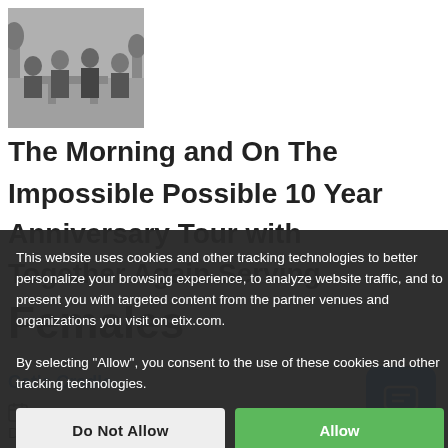[Figure (photo): Black and white photo of a band (four people) seated/standing in a room with plants and furniture]
The Morning and On The Impossible Possible 10 Year Anniversary Tour with Together Again Serving Females
Cat's Cradle
November 27, 2022 8:00 PM
Doors Open: 7:00 PM
This website uses cookies and other tracking technologies to better personalize your browsing experience, to analyze website traffic, and to present you with targeted content from the partner venues and organizations you visit on etix.com. By selecting "Allow", you consent to the use of these cookies and other tracking technologies.
Do Not Allow
Allow